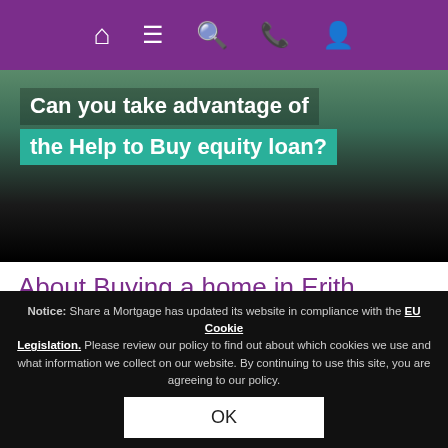[Figure (screenshot): Purple navigation bar with white icons: home, menu (hamburger), search (magnifying glass), phone, and person/account icons]
[Figure (photo): Website screenshot showing a hero image with a person in background and green teal banner overlay with text: 'Can you take advantage of the Help to Buy equity loan?']
About Buying a home in Erith
The current average property price in Erith is £246,403 and this has increased by 12% compared to last year. As with any property purchase you must budget for if a property goes up in value, as well as down.
Notice: Share a Mortgage has updated its website in compliance with the EU Cookie Legislation. Please review our policy to find out about which cookies we use and what information we collect on our website. By continuing to use this site, you are agreeing to our policy.